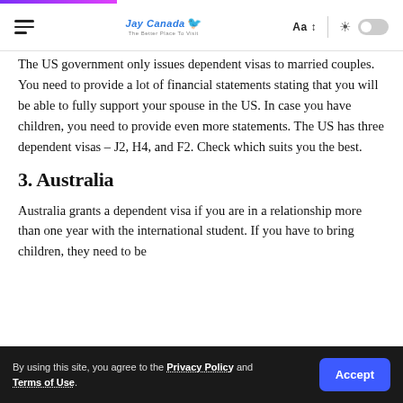Jay Canada – navigation bar with hamburger menu, logo, font control (Aa↕), sun icon and toggle
The US government only issues dependent visas to married couples. You need to provide a lot of financial statements stating that you will be able to fully support your spouse in the US. In case you have children, you need to provide even more statements. The US has three dependent visas – J2, H4, and F2. Check which suits you the best.
3. Australia
Australia grants a dependent visa if you are in a relationship more than one year with the international student. If you have to bring children, they need to be
By using this site, you agree to the Privacy Policy and Terms of Use.